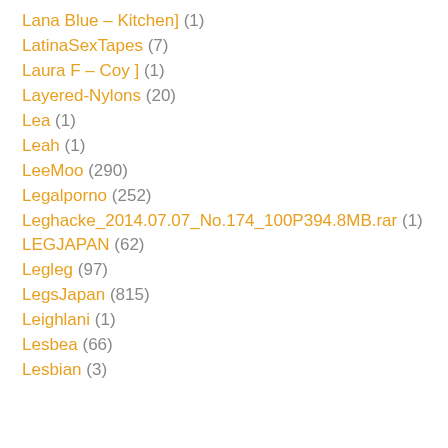Lana Blue – Kitchen] (1)
LatinaSexTapes (7)
Laura F – Coy ] (1)
Layered-Nylons (20)
Lea (1)
Leah (1)
LeeMoo (290)
Legalporno (252)
Leghacke_2014.07.07_No.174_100P394.8MB.rar (1)
LEGJAPAN (62)
Legleg (97)
LegsJapan (815)
Leighlani (1)
Lesbea (66)
Lesbian (3)